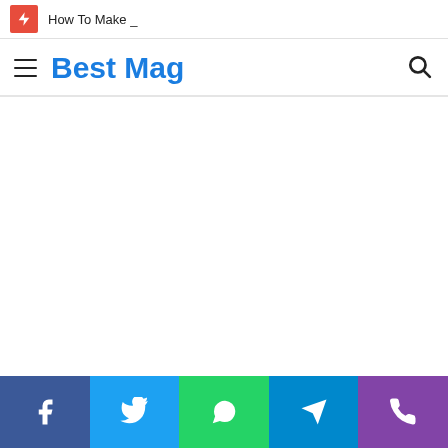How To Make _
Best Mag
[Figure (other): Empty white content area]
[Figure (infographic): Social sharing bar with Facebook, Twitter, WhatsApp, Telegram, and Phone icons]